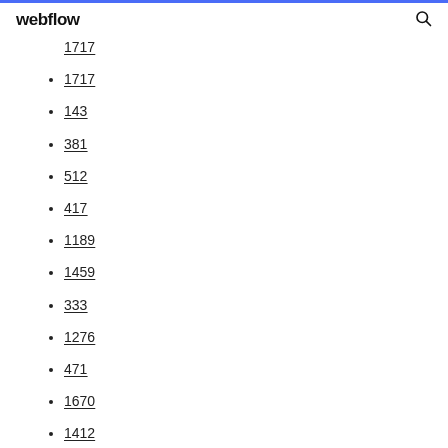webflow
1717
143
381
512
417
1189
1459
333
1276
471
1670
1412